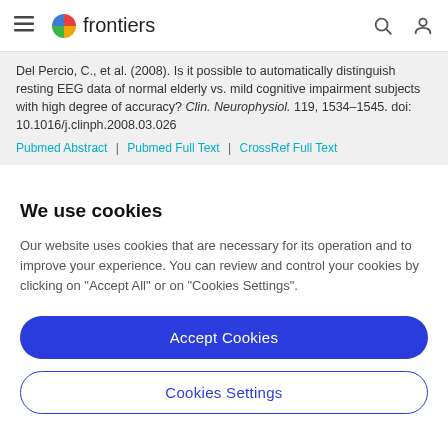frontiers
Del Percio, C., et al. (2008). Is it possible to automatically distinguish resting EEG data of normal elderly vs. mild cognitive impairment subjects with high degree of accuracy? Clin. Neurophysiol. 119, 1534–1545. doi: 10.1016/j.clinph.2008.03.026
Pubmed Abstract | Pubmed Full Text | CrossRef Full Text
We use cookies
Our website uses cookies that are necessary for its operation and to improve your experience. You can review and control your cookies by clicking on "Accept All" or on "Cookies Settings".
Accept Cookies
Cookies Settings